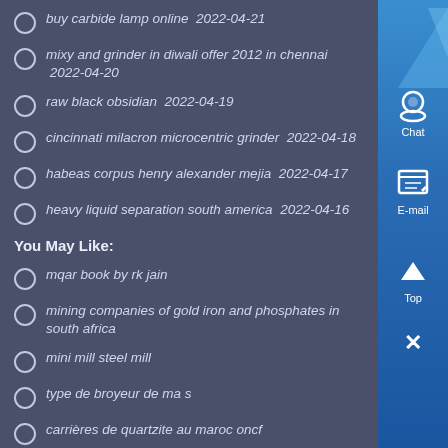buy carbide lamp online  2022-04-21
mixy and grinder in diwali offer 2012 in chennai  2022-04-20
raw black obsidian  2022-04-19
cincinnati milacron microcentric grinder  2022-04-18
habeas corpus henry alexander mejia  2022-04-17
heavy liquid separation south america  2022-04-16
You May Like:
mqar book by rk jain
mining companies of gold iron and phosphates in south africa
mini mill steel mill
type de broyeur de ma s
carrières de quartzite au maroc oncf
coal miner jeans visability